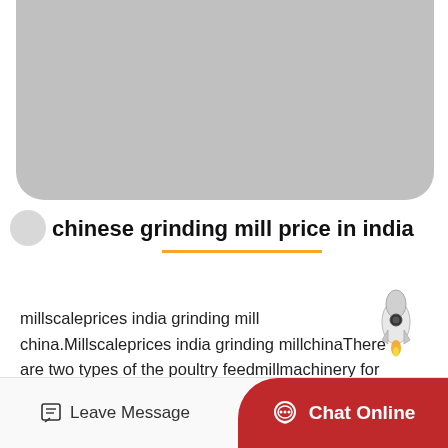[Figure (photo): Gray placeholder image with rounded bottom corners]
chinese grinding mill price in india
millscaleprices india grinding mill china.Millscaleprices india grinding millchinaThere are two types of the poultry feedmillmachinery for saleStlp 300 and stlp 400 feed pellet…
Leave Message  Chat Online